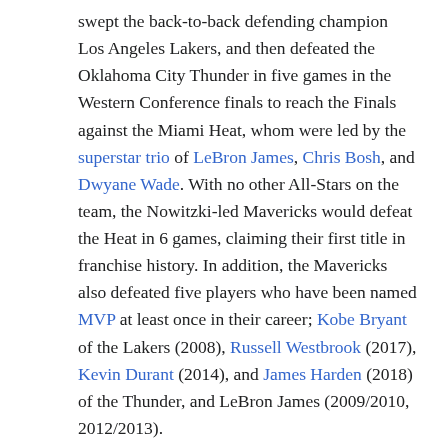swept the back-to-back defending champion Los Angeles Lakers, and then defeated the Oklahoma City Thunder in five games in the Western Conference finals to reach the Finals against the Miami Heat, whom were led by the superstar trio of LeBron James, Chris Bosh, and Dwyane Wade. With no other All-Stars on the team, the Nowitzki-led Mavericks would defeat the Heat in 6 games, claiming their first title in franchise history. In addition, the Mavericks also defeated five players who have been named MVP at least once in their career; Kobe Bryant of the Lakers (2008), Russell Westbrook (2017), Kevin Durant (2014), and James Harden (2018) of the Thunder, and LeBron James (2009/2010, 2012/2013).
2015–16 Cleveland Cavaliers — In the summer of 2014, superstar LeBron James announced to return to his hometown team via free agency to potentially win them